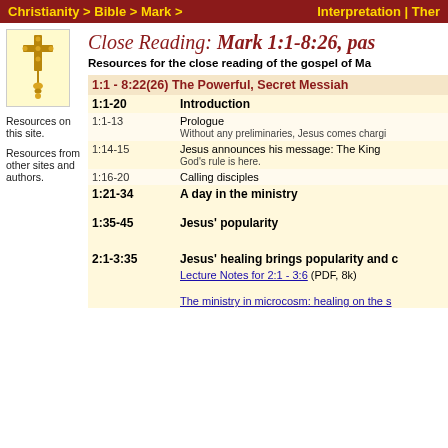Christianity > Bible > Mark >    Interpretation | Ther
[Figure (illustration): Gold Ethiopian cross on a light yellow background]
Close Reading: Mark 1:1-8:26, pas
Resources for the close reading of the gospel of Ma
Resources on this site.
Resources from other sites and authors.
| Ref | Description |
| --- | --- |
| 1:1 - 8:22(26) | The Powerful, Secret Messiah |
| 1:1-20 | Introduction |
| 1:1-13 | Prologue
Without any preliminaries, Jesus comes chargi |
| 1:14-15 | Jesus announces his message: The King
God's rule is here. |
| 1:16-20 | Calling disciples |
| 1:21-34 | A day in the ministry |
| 1:35-45 | Jesus' popularity |
| 2:1-3:35 | Jesus' healing brings popularity and c |
|  | Lecture Notes for 2:1 - 3:6 (PDF, 8k) |
|  | The ministry in microcosm: healing on the s |